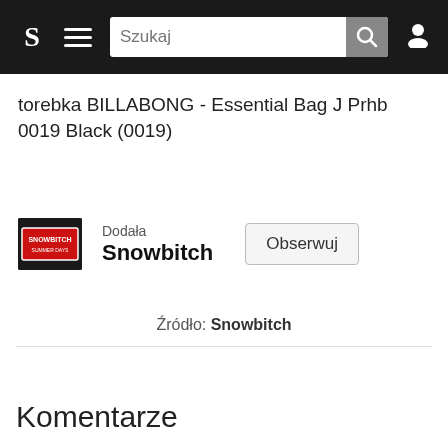S  ☰  Szukaj  🔍  👤
torebka BILLABONG - Essential Bag J Prhb 0019 Black (0019)
Dodała
Snowbitch  [Obserwuj]
Źródło: Snowbitch
Komentarze